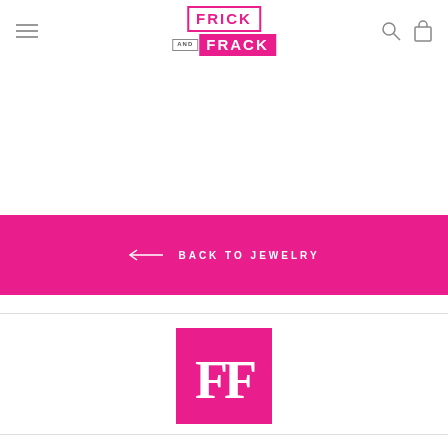Frick and Frack
← BACK TO JEWELRY
[Figure (logo): Frick and Frack FF monogram logo — two white F letters on a pink/magenta square background]
Brands